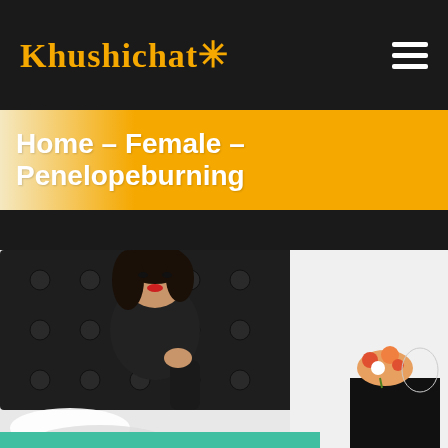Khushichat* ☰
Home - Female - Penelopeburning
[Figure (photo): A young woman with dark hair wearing a black outfit sitting on a bed with a black tufted headboard, white pillows, teal bedding, and a black bedside table with flowers in the background]